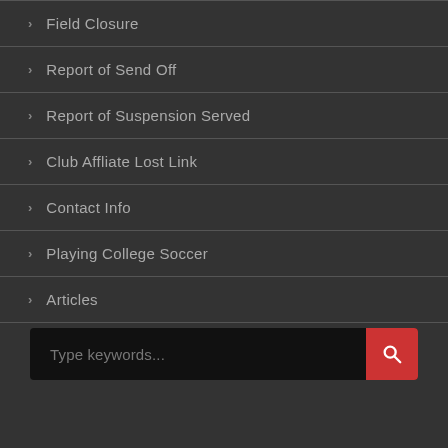Field Closure
Report of Send Off
Report of Suspension Served
Club Affliate Lost Link
Contact Info
Playing College Soccer
Articles
Type keywords...